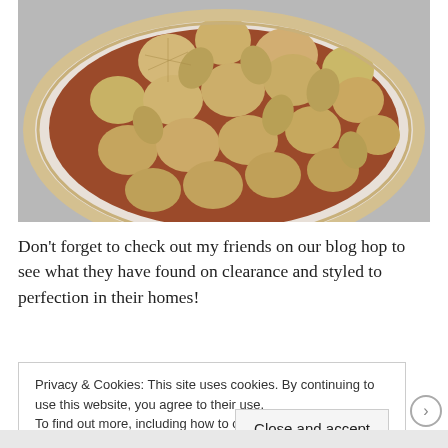[Figure (photo): Overhead view of a decorative pie with pastry cutouts shaped like flowers and leaves arranged on top, in a white pie dish, photographed from above on a light surface.]
Don't forget to check out my friends on our blog hop to see what they have found on clearance and styled to perfection in their homes!
Privacy & Cookies: This site uses cookies. By continuing to use this website, you agree to their use.
To find out more, including how to control cookies, see here: Cookie Policy